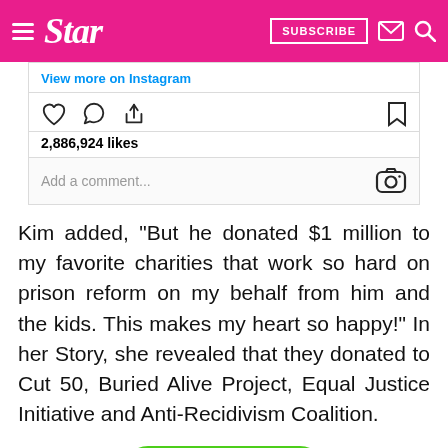Star — SUBSCRIBE
[Figure (screenshot): Instagram embed showing 2,886,924 likes, action icons (heart, comment, share, bookmark), 'View more on Instagram' link, 'Add a comment...' input and Instagram camera logo]
Kim added, “But he donated $1 million to my favorite charities that work so hard on prison reform on my behalf from him and the kids. This makes my heart so happy!” In her Story, she revealed that they donated to Cut 50, Buried Alive Project, Equal Justice Initiative and Anti-Recidivism Coalition.
NEXT →
on Newz Online